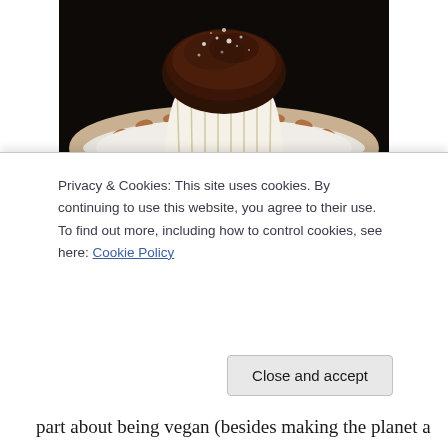[Figure (photo): A chocolate muffin with powdered sugar on top, sitting on a white plate with a brown geometric/floral pattern around the rim, photographed from above on a dark background.]
I don't know if it's the cold weather, Christmas or WHAT that makes me start to crave peppermint. Peppermint tea, candy canes, mint chocolate chip ice cream, mint chocolate cookies… and in the olden days, Girl Scouts Thin Mints (which sadly are NOT vegan). You know, people think you have to give up SO much to be a vegan… Well, I have given this a lot of thought and I don't
Privacy & Cookies: This site uses cookies. By continuing to use this website, you agree to their use.
To find out more, including how to control cookies, see here: Cookie Policy
part about being vegan (besides making the planet a